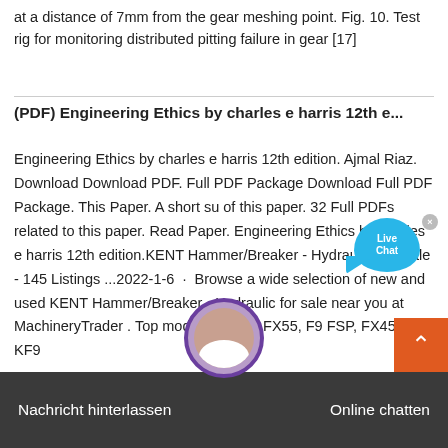at a distance of 7mm from the gear meshing point. Fig. 10. Test rig for monitoring distributed pitting failure in gear [17]
(PDF) Engineering Ethics by charles e harris 12th e...
Engineering Ethics by charles e harris 12th edition. Ajmal Riaz. Download Download PDF. Full PDF Package Download Full PDF Package. This Paper. A short su of this paper. 32 Full PDFs related to this paper. Read Paper. Engineering Ethics by charles e harris 12th edition.KENT Hammer/Breaker - Hydraulic For Sale - 145 Listings ...2022-1-6 · Browse a wide selection of new and used KENT Hammer/Breaker - Hydraulic for sale near you at MachineryTrader . Top models include FX55, F9 FSP, FX45 and KF9
[Figure (other): Live Chat speech bubble widget with blue background and white text]
[Figure (other): Orange back-to-top button with upward chevron arrow]
[Figure (other): Dark bottom bar with 'Nachricht hinterlassen' and 'Online chatten' text, with circular avatar of customer service agent]